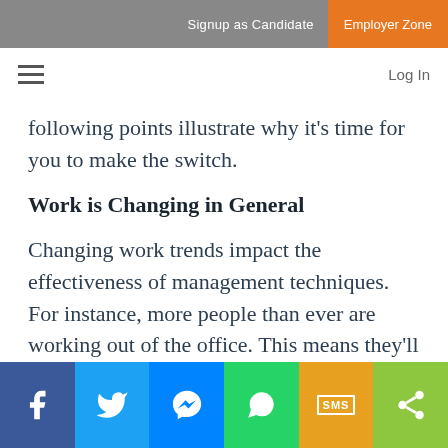Signup as Candidate  Employer Zone
following points illustrate why it's time for you to make the switch.
Work is Changing in General
Changing work trends impact the effectiveness of management techniques. For instance, more people than ever are working out of the office. This means they'll have even less direct contact with their managers. Thus, it's important to replace face-to-face interaction with virtual feedback sessions.